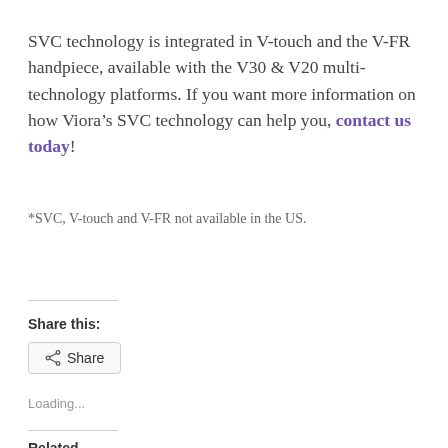SVC technology is integrated in V-touch and the V-FR handpiece, available with the V30 & V20 multi-technology platforms. If you want more information on how Viora's SVC technology can help you, contact us today!
*SVC, V-touch and V-FR not available in the US.
Share this:
Loading...